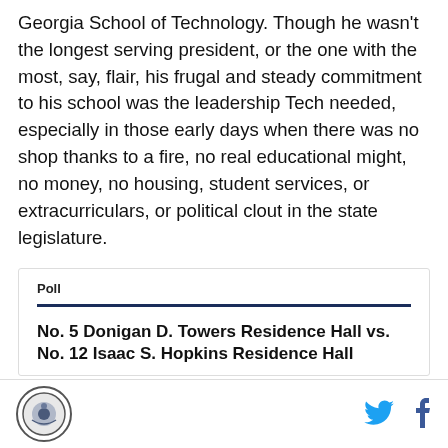Georgia School of Technology. Though he wasn't the longest serving president, or the one with the most, say, flair, his frugal and steady commitment to his school was the leadership Tech needed, especially in those early days when there was no shop thanks to a fire, no real educational might, no money, no housing, student services, or extracurriculars, or political clout in the state legislature.
Poll
No. 5 Donigan D. Towers Residence Hall vs. No. 12 Isaac S. Hopkins Residence Hall
[logo] [twitter] [facebook]